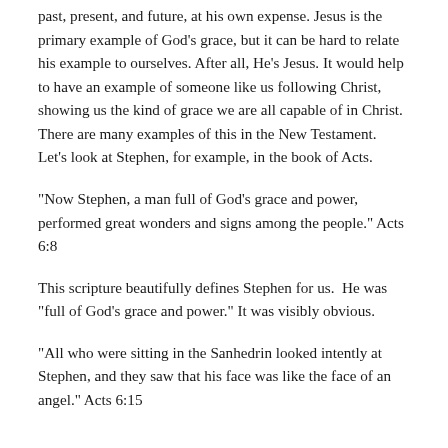past, present, and future, at his own expense. Jesus is the primary example of God's grace, but it can be hard to relate his example to ourselves. After all, He's Jesus. It would help to have an example of someone like us following Christ, showing us the kind of grace we are all capable of in Christ. There are many examples of this in the New Testament.  Let's look at Stephen, for example, in the book of Acts.
“Now Stephen, a man full of God’s grace and power, performed great wonders and signs among the people.” Acts 6:8
This scripture beautifully defines Stephen for us.  He was “full of God’s grace and power.” It was visibly obvious.
“All who were sitting in the Sanhedrin looked intently at Stephen, and they saw that his face was like the face of an angel.” Acts 6:15